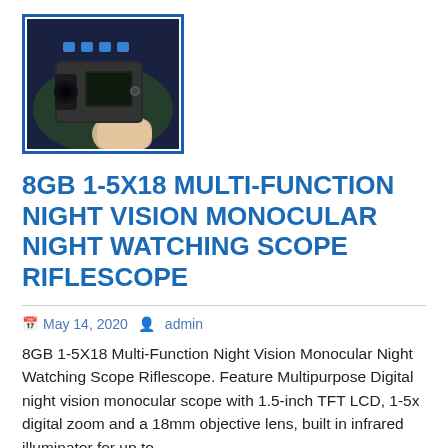[Figure (photo): Product photo of a digital night vision monocular being held in a hand, shown against a dark background. The device is black and boxy. Blue border around the image.]
8GB 1-5X18 MULTI-FUNCTION NIGHT VISION MONOCULAR NIGHT WATCHING SCOPE RIFLESCOPE
May 14, 2020  admin
8GB 1-5X18 Multi-Function Night Vision Monocular Night Watching Scope Riflescope. Feature Multipurpose Digital night vision monocular scope with 1.5-inch TFT LCD, 1-5x digital zoom and a 18mm objective lens, built in infrared illuminator for up to